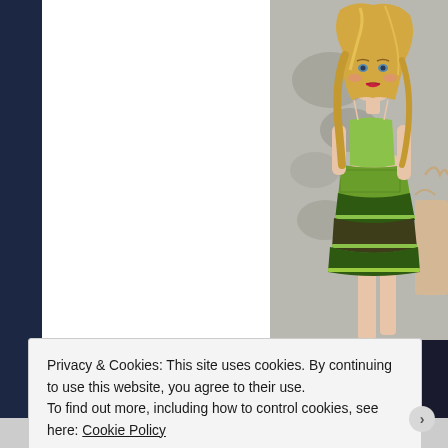[Figure (photo): A fashion doll with long blonde hair wearing a green spaghetti-strap top and a tiered green and black ruffle skirt, posed in front of a grey mottled backdrop with a decorative chair visible on the right.]
Privacy & Cookies: This site uses cookies. By continuing to use this website, you agree to their use.
To find out more, including how to control cookies, see here: Cookie Policy
Close and accept